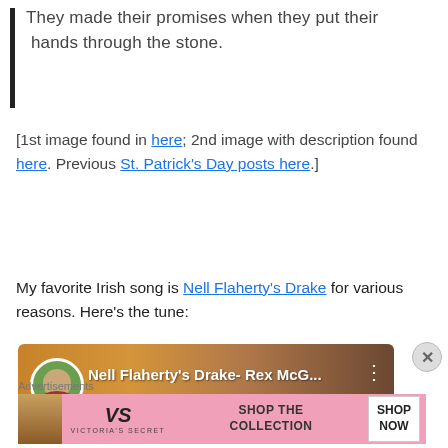They made their promises when they put their  hands through the stone.
[1st image found in here; 2nd image with description found here. Previous St. Patrick's Day posts here.]
My favorite Irish song is Nell Flaherty's Drake for various reasons. Here's the tune:
[Figure (screenshot): YouTube video thumbnail showing 'Nell Flaherty's Drake- Rex McG...' with a circular avatar of a person and guitar background]
Advertisements
[Figure (screenshot): Victoria's Secret advertisement banner with 'SHOP THE COLLECTION' and 'SHOP NOW' button on pink background]